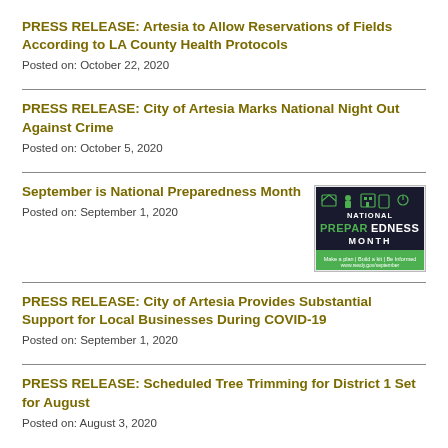PRESS RELEASE: Artesia to Allow Reservations of Fields According to LA County Health Protocols
Posted on: October 22, 2020
PRESS RELEASE: City of Artesia Marks National Night Out Against Crime
Posted on: October 5, 2020
September is National Preparedness Month
Posted on: September 1, 2020
[Figure (logo): National Preparedness Month logo with green icons]
PRESS RELEASE: City of Artesia Provides Substantial Support for Local Businesses During COVID-19
Posted on: September 1, 2020
PRESS RELEASE: Scheduled Tree Trimming for District 1 Set for August
Posted on: August 3, 2020